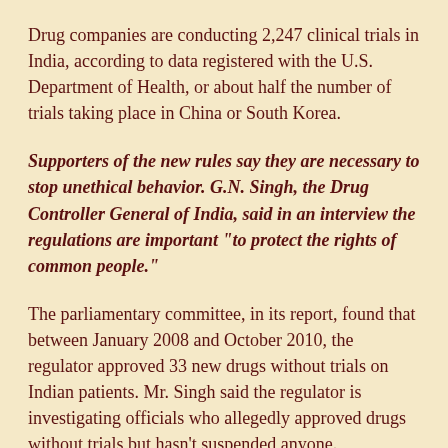Drug companies are conducting 2,247 clinical trials in India, according to data registered with the U.S. Department of Health, or about half the number of trials taking place in China or South Korea.
Supporters of the new rules say they are necessary to stop unethical behavior. G.N. Singh, the Drug Controller General of India, said in an interview the regulations are important "to protect the rights of common people."
The parliamentary committee, in its report, found that between January 2008 and October 2010, the regulator approved 33 new drugs without trials on Indian patients. Mr. Singh said the regulator is investigating officials who allegedly approved drugs without trials but hasn't suspended anyone.
The government is appointing more inspectors to oversee trials. Mr. Singh said the drug regulator had only 19